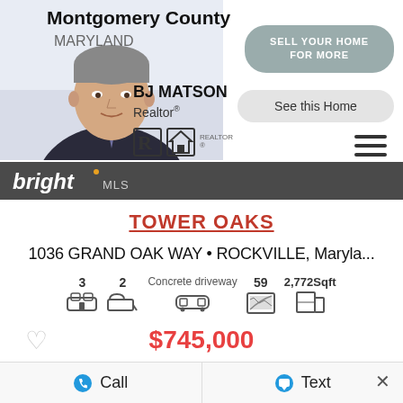[Figure (photo): Real estate agent BJ Matson headshot with Montgomery County Maryland branding, Realtor logo, equal housing logo, SELL YOUR HOME FOR MORE button, See this Home button, and hamburger menu icon]
[Figure (logo): Bright MLS logo on dark bar]
TOWER OAKS
1036 GRAND OAK WAY • ROCKVILLE, Maryla...
3  2  Concrete driveway  59  2,772Sqft
$745,000
Call  Text  ×